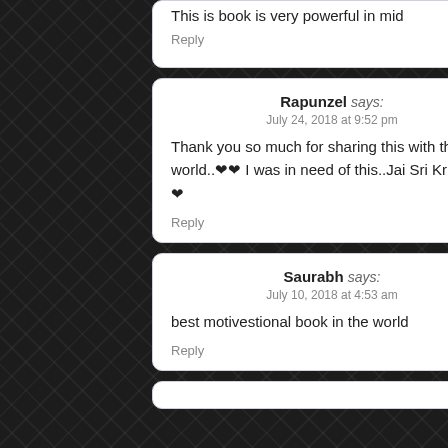This is book is very powerful in mid
Reply
Rapunzel says:
July 24, 2018 at 9:52 pm
Thank you so much for sharing this with the world..❤❤ I was in need of this..Jai Sri Krishna ❤
Reply
Saurabh says:
July 10, 2018 at 4:53 am
best motivestional book in the world
Reply